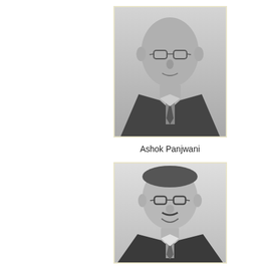[Figure (photo): Black and white portrait photo of Ashok Panjwani, a middle-aged man wearing glasses and a dark suit with tie]
Ashok Panjwani
[Figure (photo): Black and white portrait photo of Ajoy Lodha, a man wearing glasses and a dark suit with tie, smiling]
Ajoy Lodha
[Figure (photo): Black and white portrait photo of a third person, partially visible at the bottom of the page]